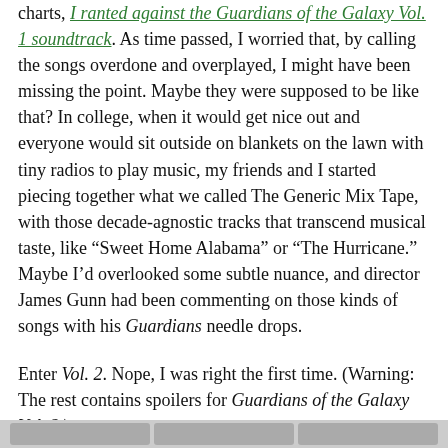charts, I ranted against the Guardians of the Galaxy Vol. 1 soundtrack. As time passed, I worried that, by calling the songs overdone and overplayed, I might have been missing the point. Maybe they were supposed to be like that? In college, when it would get nice out and everyone would sit outside on blankets on the lawn with tiny radios to play music, my friends and I started piecing together what we called The Generic Mix Tape, with those decade-agnostic tracks that transcend musical taste, like “Sweet Home Alabama” or “The Hurricane.” Maybe I’d overlooked some subtle nuance, and director James Gunn had been commenting on those kinds of songs with his Guardians needle drops.
Enter Vol. 2. Nope, I was right the first time. (Warning: The rest contains spoilers for Guardians of the Galaxy Vol. 2.)
Continue reading →